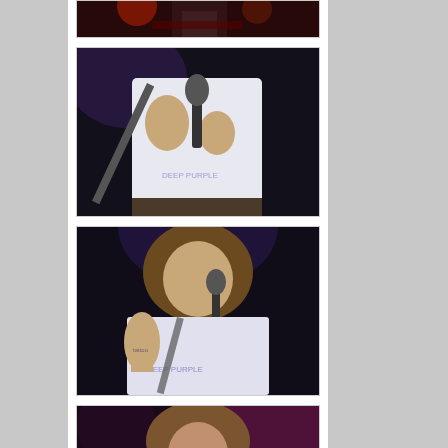[Figure (photo): Concert photo - partial view of performer on stage with red lighting, cropped at top]
[Figure (photo): Concert photo - close-up of performer in white shirt holding microphone, dark background]
[Figure (photo): Concert photo - performer with long hair in white shirt singing into microphone, tattoos visible]
[Figure (photo): Concert photo - performer in white shirt with arms outstretched, pink/magenta stage lighting]
[Figure (photo): Concert photo - performer in white shirt with long blonde hair singing, green tinted lighting]
[Figure (photo): Concert photo - partial view of performer, cropped at bottom of page]